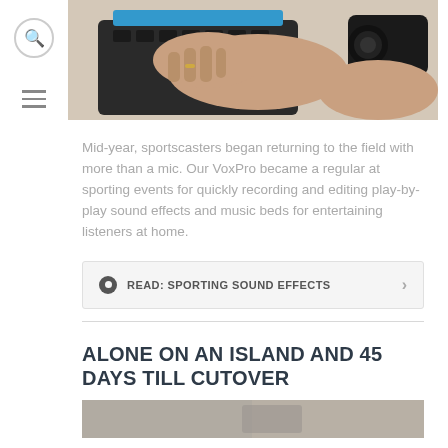[Figure (photo): Hands operating a black audio/mixing device with buttons and knobs, with a camera visible in the background]
Mid-year, sportscasters began returning to the field with more than a mic. Our VoxPro became a regular at sporting events for quickly recording and editing play-by-play sound effects and music beds for entertaining listeners at home.
READ: SPORTING SOUND EFFECTS
ALONE ON AN ISLAND AND 45 DAYS TILL CUTOVER
[Figure (photo): Partial view of another article image at the bottom of the page]